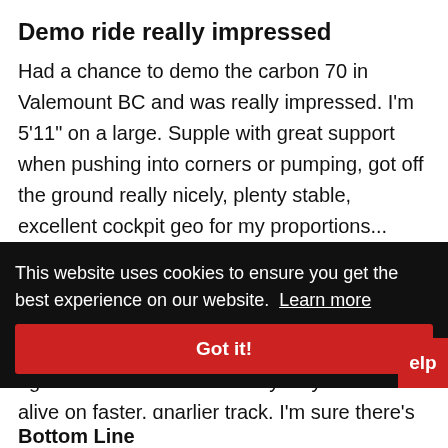Demo ride really impressed
Had a chance to demo the carbon 70 in Valemount BC and was really impressed. I'm 5'11" on a large. Supple with great support when pushing into corners or pumping, got off the ground really nicely, plenty stable, excellent cockpit geo for my proportions... definitely not a bike for blue runs though, bare in mind I usually ride a short travel trail bike but even though its pretty well rounded its still a race bike and definitely benefits from the right kind of terrain as it really only comes alive on faster, gnarlier track. I'm sure there's a better middle ground bike if you
This website uses cookies to ensure you get the best experience on our website. Learn more
Got it!
Bottom Line